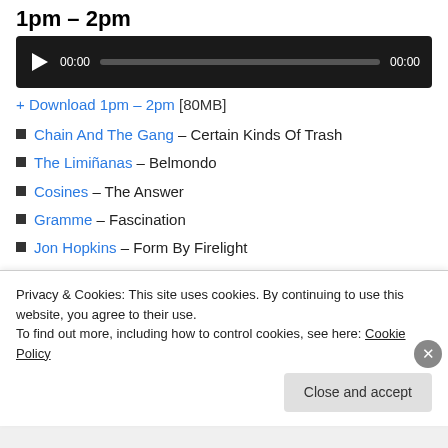1pm – 2pm
[Figure (other): Audio player with play button, progress bar showing 00:00 on left and 00:00 on right, dark background]
+ Download 1pm – 2pm [80MB]
Chain And The Gang – Certain Kinds Of Trash
The Limiñanas – Belmondo
Cosines – The Answer
Gramme – Fascination
Jon Hopkins – Form By Firelight
Superjones – Straight Ruffneck (Featuring The Ragga Twins)
Privacy & Cookies: This site uses cookies. By continuing to use this website, you agree to their use.
To find out more, including how to control cookies, see here: Cookie Policy